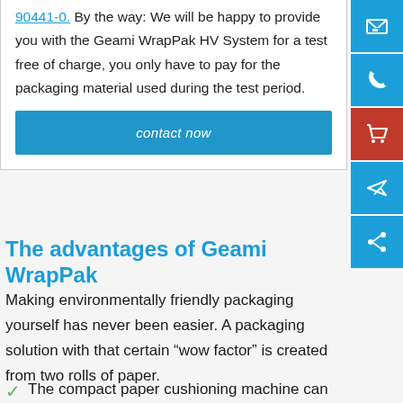90441-0. By the way: We will be happy to provide you with the Geami WrapPak HV System for a test free of charge, you only have to pay for the packaging material used during the test period.
contact now
The advantages of Geami WrapPak
Making environmentally friendly packaging yourself has never been easier. A packaging solution with that certain “wow factor” is created from two rolls of paper.
The compact paper cushioning machine can